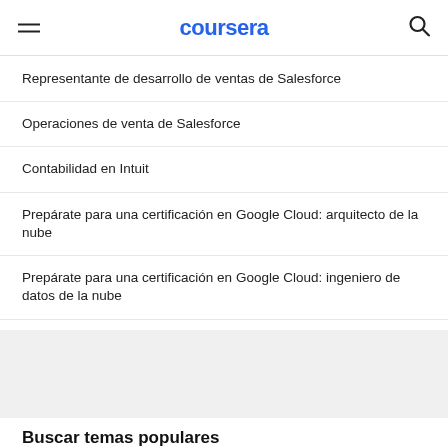coursera
Representante de desarrollo de ventas de Salesforce
Operaciones de venta de Salesforce
Contabilidad en Intuit
Prepárate para una certificación en Google Cloud: arquitecto de la nube
Prepárate para una certificación en Google Cloud: ingeniero de datos de la nube
Lanza tu carrera profesional
Prepárate para una certificación
Avanza en tu carrera
Buscar temas populares